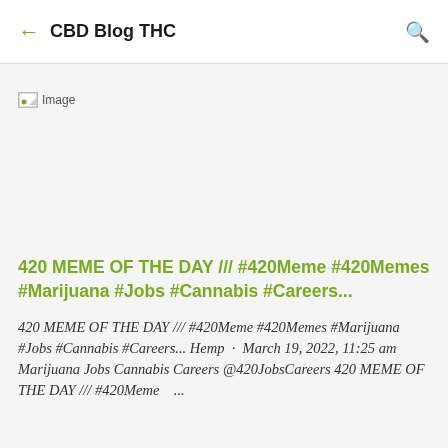CBD Blog THC
[Figure (photo): Broken image placeholder icon labeled 'Image']
420 MEME OF THE DAY /// #420Meme #420Memes #Marijuana #Jobs #Cannabis #Careers...
420 MEME OF THE DAY /// #420Meme #420Memes #Marijuana #Jobs #Cannabis #Careers... Hemp · March 19, 2022, 11:25 am Marijuana Jobs Cannabis Careers @420JobsCareers 420 MEME OF THE DAY /// #420Meme ...